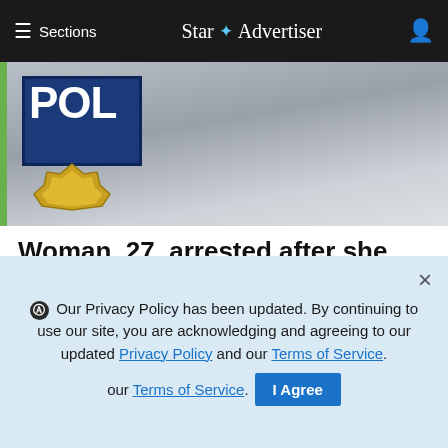≡ Sections   Star ✦ Advertiser
[Figure (photo): Close-up of a police vehicle door with a blue and yellow police badge/logo visible]
Woman, 27, arrested after she allegedly attacks officer in Waianae
Honolulu police arrested a 27-year-old woman after she allegedly assaulted a police officer in Waianae ...
Star-Advertiser
[Figure (photo): Person with dark brown curly hair held up with a blue clip, blurred background with plants]
ⓘ Our Privacy Policy has been updated. By continuing to use our site, you are acknowledging and agreeing to our updated Privacy Policy and our Terms of Service.  I Agree